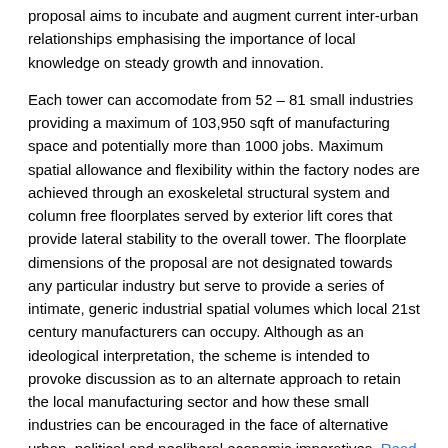proposal aims to incubate and augment current inter-urban relationships emphasising the importance of local knowledge on steady growth and innovation.
Each tower can accomodate from 52 – 81 small industries providing a maximum of 103,950 sqft of manufacturing space and potentially more than 1000 jobs. Maximum spatial allowance and flexibility within the factory nodes are achieved through an exoskeletal structural system and column free floorplates served by exterior lift cores that provide lateral stability to the overall tower. The floorplate dimensions of the proposal are not designated towards any particular industry but serve to provide a series of intimate, generic industrial spatial volumes which local 21st century manufacturers can occupy. Although as an ideological interpretation, the scheme is intended to provoke discussion as to an alternate approach to retain the local manufacturing sector and how these small industries can be encouraged in the face of alternative urban, political and neoliberal economic imperatives. Read the rest of this entry »
Noah Oasis: Rig to Vertical Bio-Habitat